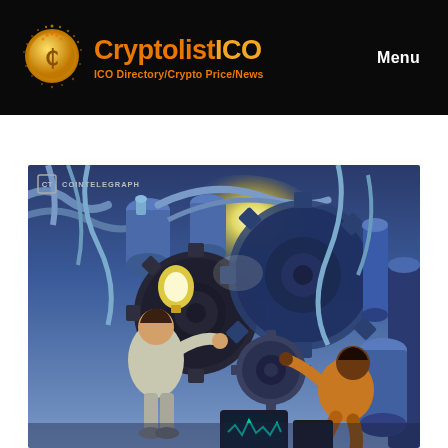CryptolistICO — ICO Directory/Crypto Price/News | Menu
[Figure (illustration): CoinTelegraph-style illustration showing two workers operating large industrial gears and machinery, with pipes and mechanical components in blue tones, and a computer monitor showing a waveform/chart at the bottom center. The scene represents blockchain/crypto technology mechanics.]